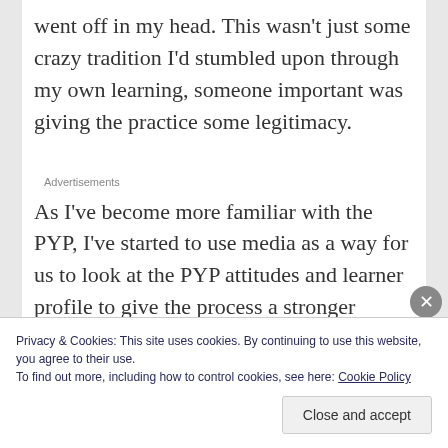went off in my head. This wasn't just some crazy tradition I'd stumbled upon through my own learning, someone important was giving the practice some legitimacy.
Advertisements
As I've become more familiar with the PYP, I've started to use media as a way for us to look at the PYP attitudes and learner profile to give the process a stronger conceptual framework. The key
Privacy & Cookies: This site uses cookies. By continuing to use this website, you agree to their use.
To find out more, including how to control cookies, see here: Cookie Policy